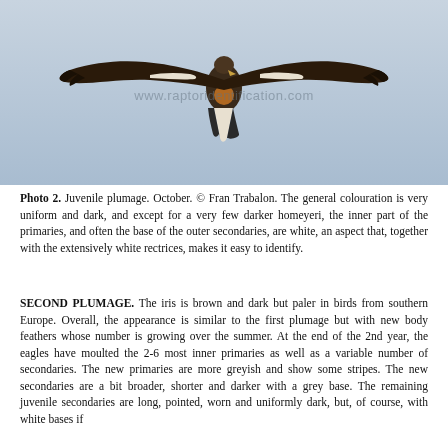[Figure (photo): Photograph of an eagle in flight from below, showing juvenile plumage with dark brown and white wing and tail feathers against a pale blue-grey sky. Watermark reads www.raptoridentification.com]
Photo 2. Juvenile plumage. October. © Fran Trabalon. The general colouration is very uniform and dark, and except for a very few darker homeyeri, the inner part of the primaries, and often the base of the outer secondaries, are white, an aspect that, together with the extensively white rectrices, makes it easy to identify.
SECOND PLUMAGE. The iris is brown and dark but paler in birds from southern Europe. Overall, the appearance is similar to the first plumage but with new body feathers whose number is growing over the summer. At the end of the 2nd year, the eagles have moulted the 2-6 most inner primaries as well as a variable number of secondaries. The new primaries are more greyish and show some stripes. The new secondaries are a bit broader, shorter and darker with a grey base. The remaining juvenile secondaries are long, pointed, worn and uniformly dark, but, of course, with white bases if